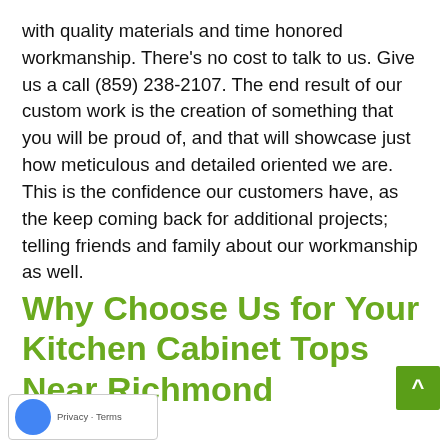with quality materials and time honored workmanship. There's no cost to talk to us. Give us a call (859) 238-2107. The end result of our custom work is the creation of something that you will be proud of, and that will showcase just how meticulous and detailed oriented we are. This is the confidence our customers have, as the keep coming back for additional projects; telling friends and family about our workmanship as well.
Why Choose Us for Your Kitchen Cabinet Tops Near Richmond
Privacy · Terms